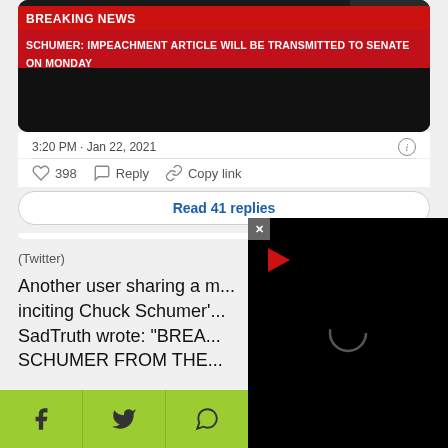[Figure (screenshot): News broadcast screenshot showing BREAKING NEWS banner and headline: SCHUMER: IMPEACHMENT ARTICLE WILL BE TRANSMITTED TO SENATE ON MONDAY, on a dark background]
3:20 PM · Jan 22, 2021
398  Reply  Copy link
Read 41 replies
(Twitter)
Another user sharing a m... inciting Chuck Schumer'... SadTruth wrote: "BREA... SCHUMER FROM THE...
[Figure (screenshot): Video player overlay with black background, red play button and loading spinner]